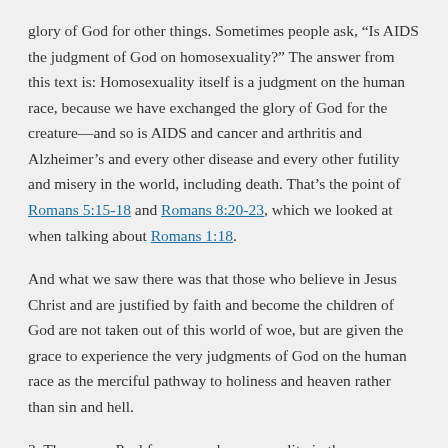glory of God for other things. Sometimes people ask, “Is AIDS the judgment of God on homosexuality?” The answer from this text is: Homosexuality itself is a judgment on the human race, because we have exchanged the glory of God for the creature—and so is AIDS and cancer and arthritis and Alzheimer’s and every other disease and every other futility and misery in the world, including death. That’s the point of Romans 5:15-18 and Romans 8:20-23, which we looked at when talking about Romans 1:18.
And what we saw there was that those who believe in Jesus Christ and are justified by faith and become the children of God are not taken out of this world of woe, but are given the grace to experience the very judgments of God on the human race as the merciful pathway to holiness and heaven rather than sin and hell.
3. The reason Paul focuses on homosexuality in these verses